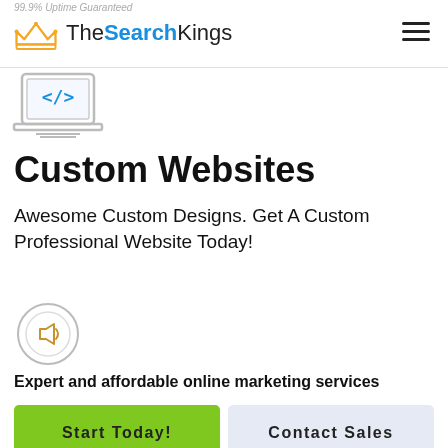99.9% Uptime Guaranteed — TheSearchKings logo with hamburger menu
[Figure (illustration): Laptop icon with code brackets on screen]
Custom Websites
Awesome Custom Designs. Get A Custom Professional Website Today!
[Figure (illustration): Megaphone/bullhorn target icon (circular)]
Expert and affordable online marketing services
Start Today! | Contact Sales
Google Maps